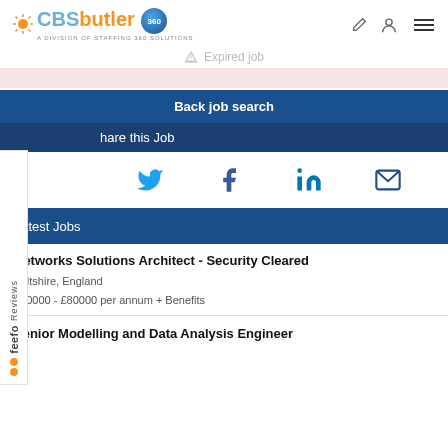CBSbutler 360 — A Division of Staffing 360 Solutions
⚠ Expired job
Back job search
Share this Job
Twitter, Facebook, LinkedIn, Email social share icons
Latest Jobs
Networks Solutions Architect - Security Cleared
Wiltshire, England
£70000 - £80000 per annum + Benefits
Senior Modelling and Data Analysis Engineer